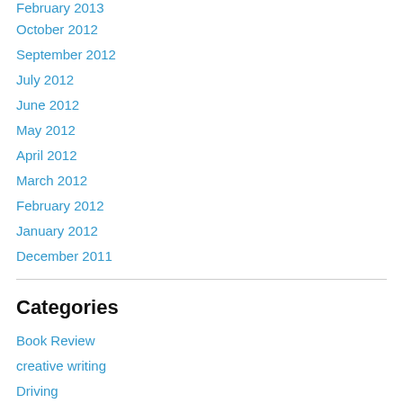February 2013
October 2012
September 2012
July 2012
June 2012
May 2012
April 2012
March 2012
February 2012
January 2012
December 2011
Categories
Book Review
creative writing
Driving
Father Knows Best
Hey Drew
Jury Duty